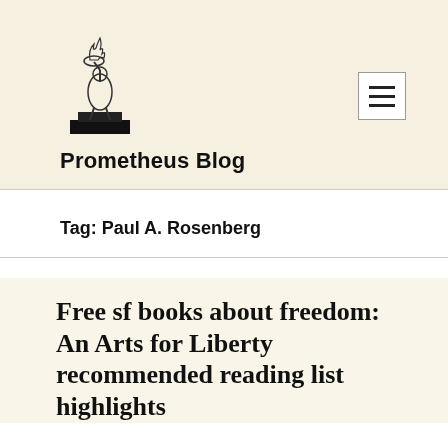[Figure (logo): Prometheus figure logo: a figure holding a flame on a pedestal, black ink illustration]
Prometheus Blog
Tag: Paul A. Rosenberg
Free sf books about freedom: An Arts for Liberty recommended reading list highlights